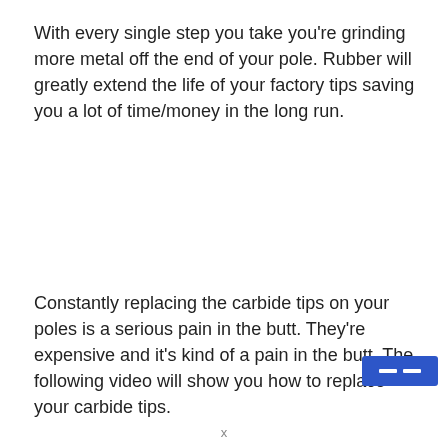With every single step you take you're grinding more metal off the end of your pole. Rubber will greatly extend the life of your factory tips saving you a lot of time/money in the long run.
Constantly replacing the carbide tips on your poles is a serious pain in the butt. They're expensive and it's kind of a pain in the butt. The following video will show you how to replace your carbide tips.
[Figure (other): Blue button/control element in bottom-right corner of page]
x